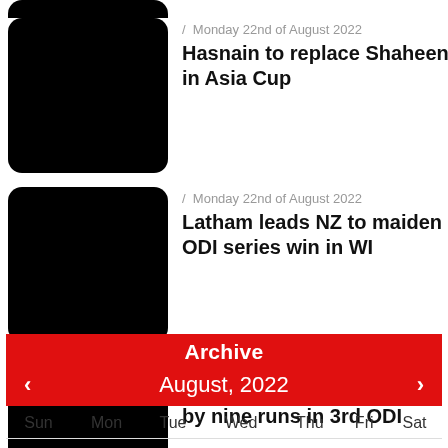[Figure (photo): Black thumbnail image (partially visible at top)]
/ Monday 22nd of August 2022
Hasnain to replace Shaheen in Asia Cup
[Figure (photo): Black thumbnail image]
/ Monday 22nd of August 2022
Latham leads NZ to maiden ODI series win in WI
[Figure (photo): Black thumbnail image]
/ Monday 22nd of August 2022
Pakistan edge Netherlands by nine runs in 3rd ODI
Archive
August, 2022
| Sun | Mon | Tue | Wed | Thu | Fri | Sat |
| --- | --- | --- | --- | --- | --- | --- |
| - | 1 | 2 | 3 | 4 | 5 | 6 |
| 7 | 8 | 9 | 10 | 11 | 12 | 13 |
| 14 | 15 | 16 | 17 | 18 | 19 | 20 |